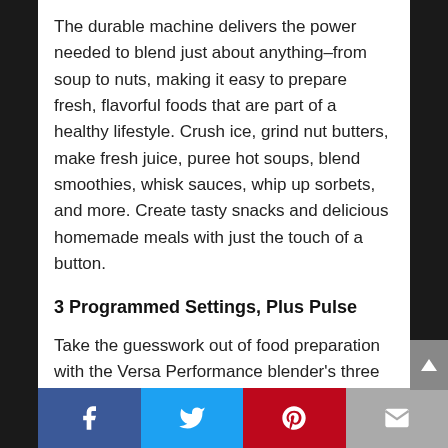The durable machine delivers the power needed to blend just about anything–from soup to nuts, making it easy to prepare fresh, flavorful foods that are part of a healthy lifestyle. Crush ice, grind nut butters, make fresh juice, puree hot soups, blend smoothies, whisk sauces, whip up sorbets, and more. Create tasty snacks and delicious homemade meals with just the touch of a button.
3 Programmed Settings, Plus Pulse
Take the guesswork out of food preparation with the Versa Performance blender's three